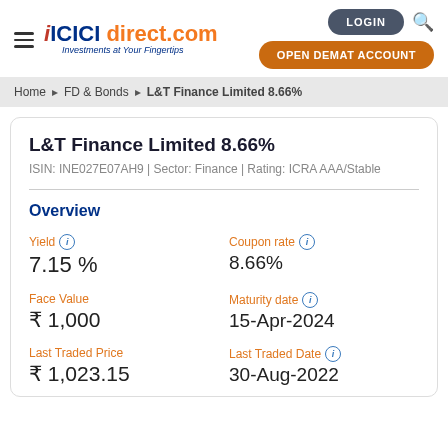ICICI direct.com — Investments at Your Fingertips | LOGIN | OPEN DEMAT ACCOUNT
Home › FD & Bonds › L&T Finance Limited 8.66%
L&T Finance Limited 8.66%
ISIN: INE027E07AH9 | Sector: Finance | Rating: ICRA AAA/Stable
Overview
Yield: 7.15 %
Coupon rate: 8.66%
Face Value: ₹ 1,000
Maturity date: 15-Apr-2024
Last Traded Price: ₹ 1,023.15
Last Traded Date: 30-Aug-2022